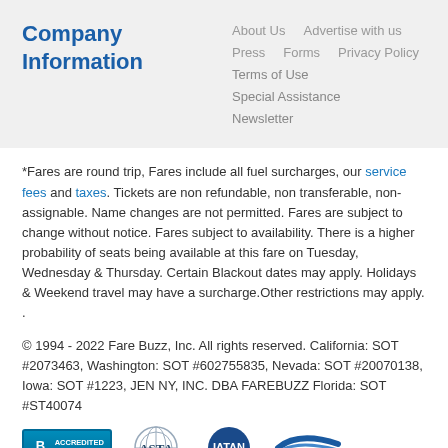Company Information
About Us
Advertise with us
Press
Forms
Privacy Policy
Terms of Use
Special Assistance
Newsletter
*Fares are round trip, Fares include all fuel surcharges, our service fees and taxes. Tickets are non refundable, non transferable, non-assignable. Name changes are not permitted. Fares are subject to change without notice. Fares subject to availability. There is a higher probability of seats being available at this fare on Tuesday, Wednesday & Thursday. Certain Blackout dates may apply. Holidays & Weekend travel may have a surcharge.Other restrictions may apply. .
© 1994 - 2022 Fare Buzz, Inc. All rights reserved. California: SOT #2073463, Washington: SOT #602755835, Nevada: SOT #20070138, Iowa: SOT #1223, JEN NY, INC. DBA FAREBUZZ Florida: SOT #ST40074
[Figure (logo): BBB Accredited Business badge, ASTA logo, IATAN logo, CLIA logo]